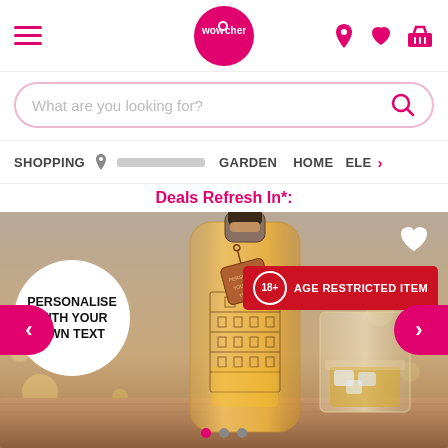[Figure (screenshot): Wowcher website header with hamburger menu, logo, location icon, heart icon, and basket icon]
What are you looking for?
SHOPPING  GARDEN  HOME  ELE >
Deals Refresh In*:
[Figure (photo): A personalised whisky decanter bottle with city building engravings and a leather tag, next to a whisky glass with ice, on a wooden surface with bokeh fairy lights background. Badge overlays: 'PERSONALISE WITH YOUR OWN TEXT' (white circle, bottom-left), '18+ AGE RESTRICTED ITEM' (red badge, top-right), white heart icon (top-right), left and right pink carousel arrows, and three carousel dots at bottom.]